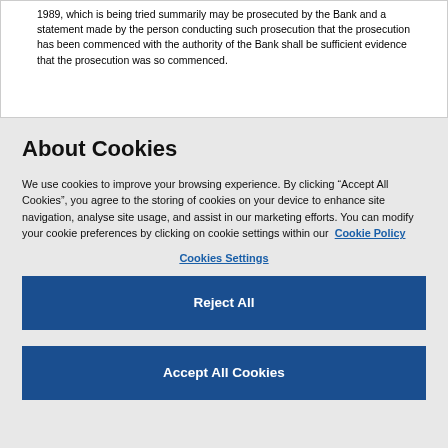1989, which is being tried summarily may be prosecuted by the Bank and a statement made by the person conducting such prosecution that the prosecution has been commenced with the authority of the Bank shall be sufficient evidence that the prosecution was so commenced.
About Cookies
We use cookies to improve your browsing experience. By clicking “Accept All Cookies”, you agree to the storing of cookies on your device to enhance site navigation, analyse site usage, and assist in our marketing efforts. You can modify your cookie preferences by clicking on cookie settings within our  Cookie Policy
Cookies Settings
Reject All
Accept All Cookies